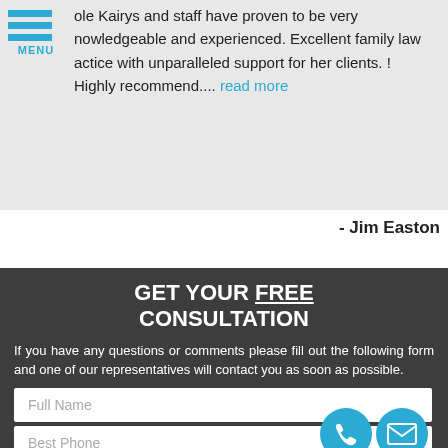ole Kairys and staff have proven to be very nowledgeable and experienced. Excellent family law actice with unparalleled support for her clients. ! Highly recommend.... read more
- Jim Easton
GET YOUR FREE CONSULTATION
If you have any questions or comments please fill out the following form and one of our representatives will contact you as soon as possible.